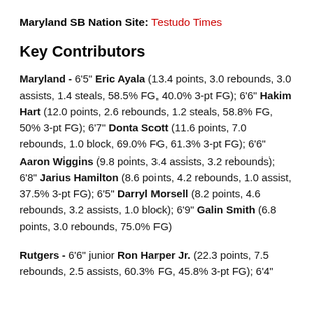Maryland SB Nation Site: Testudo Times
Key Contributors
Maryland - 6'5" Eric Ayala (13.4 points, 3.0 rebounds, 3.0 assists, 1.4 steals, 58.5% FG, 40.0% 3-pt FG); 6'6" Hakim Hart (12.0 points, 2.6 rebounds, 1.2 steals, 58.8% FG, 50% 3-pt FG); 6'7" Donta Scott (11.6 points, 7.0 rebounds, 1.0 block, 69.0% FG, 61.3% 3-pt FG); 6'6" Aaron Wiggins (9.8 points, 3.4 assists, 3.2 rebounds); 6'8" Jarius Hamilton (8.6 points, 4.2 rebounds, 1.0 assist, 37.5% 3-pt FG); 6'5" Darryl Morsell (8.2 points, 4.6 rebounds, 3.2 assists, 1.0 block); 6'9" Galin Smith (6.8 points, 3.0 rebounds, 75.0% FG)
Rutgers - 6'6" junior Ron Harper Jr. (22.3 points, 7.5 rebounds, 2.5 assists, 60.3% FG, 45.8% 3-pt FG); 6'4"